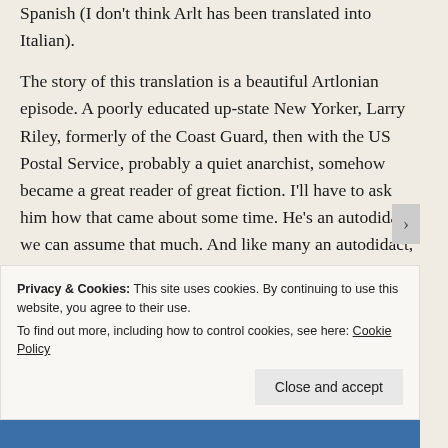Spanish (I don't think Arlt has been translated into Italian).
The story of this translation is a beautiful Artlonian episode. A poorly educated up-state New Yorker, Larry Riley, formerly of the Coast Guard, then with the US Postal Service, probably a quiet anarchist, somehow became a great reader of great fiction. I'll have to ask him how that came about some time. He's an autodidact, we can assume that much. And like many an autodidact, he probably quite often does things because he is free enough not to know better. But moving
Privacy & Cookies: This site uses cookies. By continuing to use this website, you agree to their use.
To find out more, including how to control cookies, see here: Cookie Policy
Close and accept